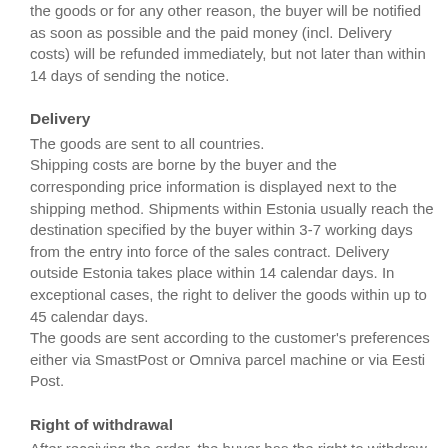the goods or for any other reason, the buyer will be notified as soon as possible and the paid money (incl. Delivery costs) will be refunded immediately, but not later than within 14 days of sending the notice.
Delivery
The goods are sent to all countries.
Shipping costs are borne by the buyer and the corresponding price information is displayed next to the shipping method. Shipments within Estonia usually reach the destination specified by the buyer within 3-7 working days from the entry into force of the sales contract. Delivery outside Estonia takes place within 14 calendar days. In exceptional cases, the right to deliver the goods within up to 45 calendar days.
The goods are sent according to the customer's preferences either via SmastPost or Omniva parcel machine or via Eesti Post.
Right of withdrawal
After receiving the order, the buyer has the right to withdraw from the contract entered into in the e-shop within 14 days, unless the ordered goods have been manufactured in accordance with the conditions submitted by the consumer (§ 53 (4) of the Law of Obligations Act).